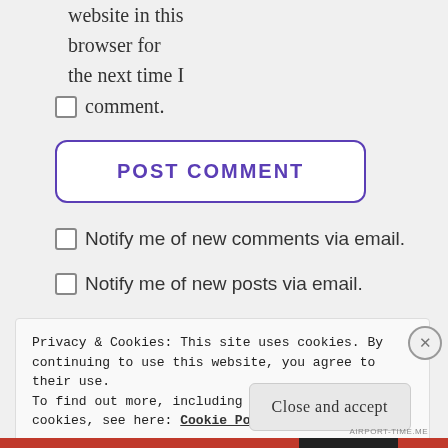website in this browser for the next time I
comment.
POST COMMENT
Notify me of new comments via email.
Notify me of new posts via email.
Privacy & Cookies: This site uses cookies. By continuing to use this website, you agree to their use.
To find out more, including how to control cookies, see here: Cookie Policy
Close and accept